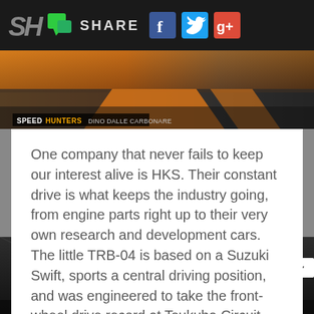SH | SHARE [social icons: Facebook, Twitter, Google+]
[Figure (photo): Speedhunters top photo strip with orange/dark background and asphalt, with SPEEDHUNTERS DINO DALLE CARBONARE badge]
One company that never fails to keep our interest alive is HKS. Their constant drive is what keeps the industry going, from engine parts right up to their very own research and development cars. The little TRB-04 is based on a Suzuki Swift, sports a central driving position, and was engineered to take the front-wheel drive record at Tsukuba Circuit.
[Figure (photo): Bottom photo of HKS trade show booth with large HKS logo sign and EXEDY banner, indoor venue with ceiling lights]